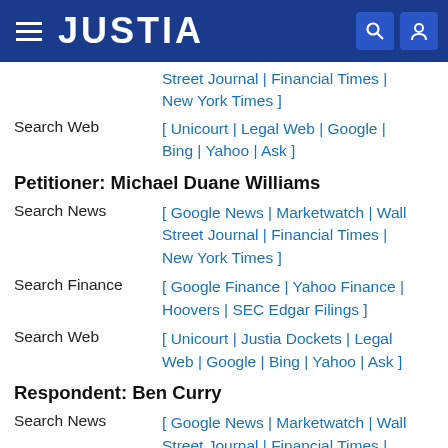JUSTIA
Street Journal | Financial Times | New York Times ]
Search Web [ Unicourt | Legal Web | Google | Bing | Yahoo | Ask ]
Petitioner: Michael Duane Williams
Search News [ Google News | Marketwatch | Wall Street Journal | Financial Times | New York Times ]
Search Finance [ Google Finance | Yahoo Finance | Hoovers | SEC Edgar Filings ]
Search Web [ Unicourt | Justia Dockets | Legal Web | Google | Bing | Yahoo | Ask ]
Respondent: Ben Curry
Search News [ Google News | Marketwatch | Wall Street Journal | Financial Times |